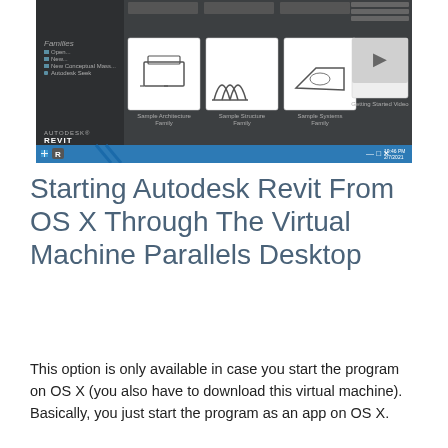[Figure (screenshot): Screenshot of Autodesk Revit application startup screen showing project templates, families section with sample architecture, structure and systems families, and a Getting Started Video. The bottom taskbar shows Windows and Revit icons with a blue accent bar.]
Starting Autodesk Revit From OS X Through The Virtual Machine Parallels Desktop
This option is only available in case you start the program on OS X (you also have to download this virtual machine). Basically, you just start the program as an app on OS X.